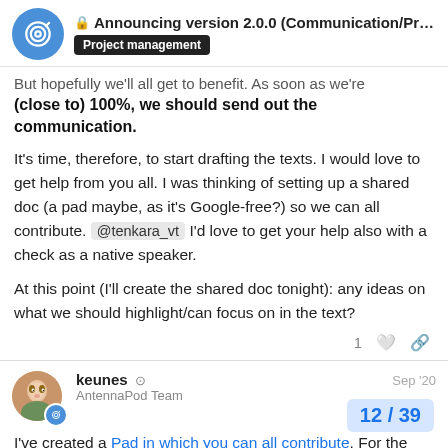Announcing version 2.0.0 (Communication/Pr... — Project management
But hopefully we'll all get to benefit. As soon as we're (close to) 100%, we should send out the communication.
It's time, therefore, to start drafting the texts. I would love to get help from you all. I was thinking of setting up a shared doc (a pad maybe, as it's Google-free?) so we can all contribute. @tenkara_vt I'd love to get your help also with a check as a native speaker.
At this point (I'll create the shared doc tonight): any ideas on what we should highlight/can focus on in the text?
keunes — AntennaPod Team — Sep '20
I've created a Pad in which you can all contribute. For the moment I've just added my ideas for the release message. Feel free to add your ideas or co…
12 / 39